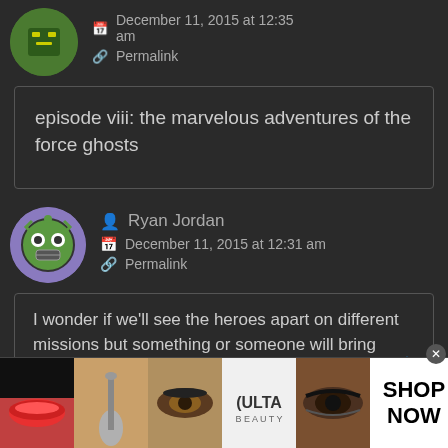December 11, 2015 at 12:35 am
Permalink
episode viii: the marvelous adventures of the force ghosts
Ryan Jordan
December 11, 2015 at 12:31 am
Permalink
I wonder if we'll see the heroes apart on different missions but something or someone will bring them together again. Similar to ESB.
[Figure (photo): Advertisement banner with makeup/beauty images and ULTA logo with SHOP NOW text]